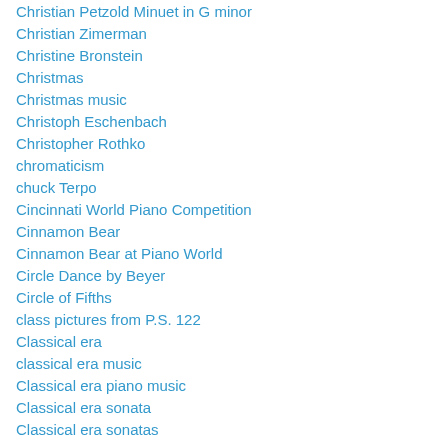Christian Petzold Minuet in G minor
Christian Zimerman
Christine Bronstein
Christmas
Christmas music
Christoph Eschenbach
Christopher Rothko
chromaticism
chuck Terpo
Cincinnati World Piano Competition
Cinnamon Bear
Cinnamon Bear at Piano World
Circle Dance by Beyer
Circle of Fifths
class pictures from P.S. 122
Classical era
classical era music
Classical era piano music
Classical era sonata
Classical era sonatas